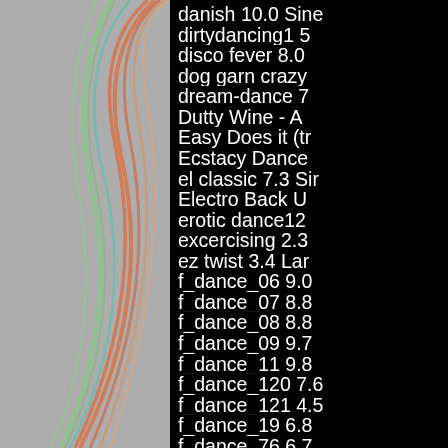[Figure (illustration): Abstract colorful swirling light streaks (green, red, orange) on a gray background, occupying the left portion of the page.]
danish 10.0 Sine
dirtydancing1 5
disco fever 8.0
dog garn crazy
dream-dance 7
Dutty Wine - A
Easy Does it (tr
Ecstacy Dance
el classic 7.3 Sir
Electro Back U
erotic dance12
excercising 2.3
ez twist 3.4 Lar
f_dance_06 9.0
f_dance_07 8.8
f_dance_08 8.8
f_dance_09 9.7
f_dance_11 9.8
f_dance_120 7.6
f_dance_121 4.5
f_dance_19 6.8
f_dance_76 6.7